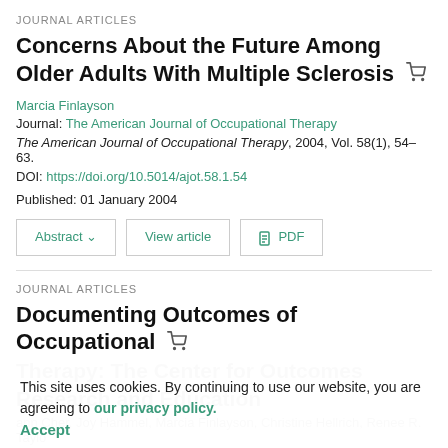JOURNAL ARTICLES
Concerns About the Future Among Older Adults With Multiple Sclerosis
Marcia Finlayson
Journal: The American Journal of Occupational Therapy
The American Journal of Occupational Therapy, 2004, Vol. 58(1), 54–63.
DOI: https://doi.org/10.5014/ajot.58.1.54
Published: 01 January 2004
Abstract ∨   View article   PDF
JOURNAL ARTICLES
Documenting Outcomes of Occupational Therapy: The Center for Outcomes Research and Education
This site uses cookies. By continuing to use our website, you are agreeing to our privacy policy. Accept